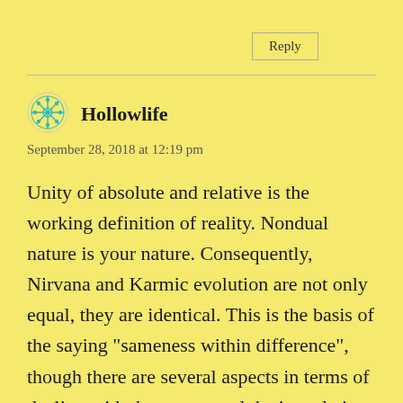Reply
Hollowlife
September 28, 2018 at 12:19 pm
Unity of absolute and relative is the working definition of reality. Nondual nature is your nature. Consequently, Nirvana and Karmic evolution are not only equal, they are identical. This is the basis of the saying “sameness within difference”, though there are several aspects in terms of dealing with the conceptual device relative to various teachings within buddhism.